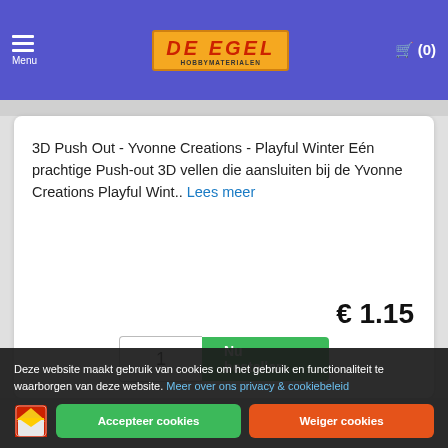Menu | De Egel Hobbymaterialen | (0)
3D Push Out - Yvonne Creations - Playful Winter E&eacute;n prachtige Push-out 3D vellen die aansluiten bij de Yvonne Creations Playful Wint.. Lees meer
€ 1.15
1  Nu bestellen
[Figure (photo): Partial product image of a 3D Push Out sheet with a winter theme visible at the bottom of the page]
Deze website maakt gebruik van cookies om het gebruik en functionaliteit te waarborgen van deze website. Meer over ons privacy & cookiebeleid
Accepteer cookies   Weiger cookies